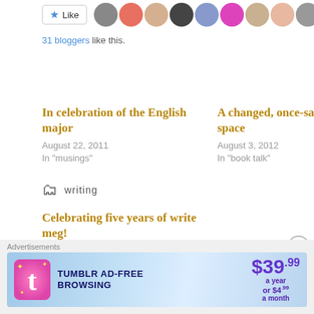[Figure (screenshot): Like button with blue star and avatars of 31 bloggers shown as small circular profile photos]
31 bloggers like this.
In celebration of the English major
August 22, 2011
In "musings"
A changed, once-sacred space
August 3, 2012
In "book talk"
Celebrating five years of write meg!
June 3, 2013
In "musings"
writing
Advertisements
[Figure (screenshot): Tumblr Ad-Free Browsing advertisement banner showing $39.99 a year or $4.99 a month with Tumblr logo]